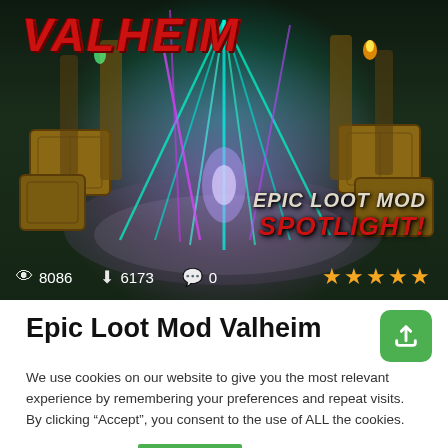[Figure (screenshot): Valheim game screenshot showing a circular arena with laser beams in purple, cyan and green colors, wooden crates around the perimeter. 'VALHEIM' logo in red italic text top-left, 'EPIC LOOT MOD SPOTLIGHT!' text in bottom-right. Stats bar shows eye icon 8086, download icon 6173, comment icon 0, and five gold stars.]
Epic Loot Mod Valheim
We use cookies on our website to give you the most relevant experience by remembering your preferences and repeat visits. By clicking “Accept”, you consent to the use of ALL the cookies.
Cookie settings
ACCEPT